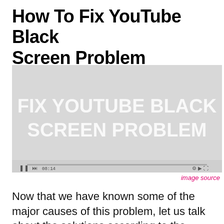How To Fix YouTube Black Screen Problem
[Figure (screenshot): A YouTube video player showing a light gray screen with the text 'FIX YOUTUBE BLACK SCREEN PROBLEM' in white bold letters, with video playback controls visible at the bottom.]
image source
Now that we have known some of the major causes of this problem, let us talk about the solutions according to the